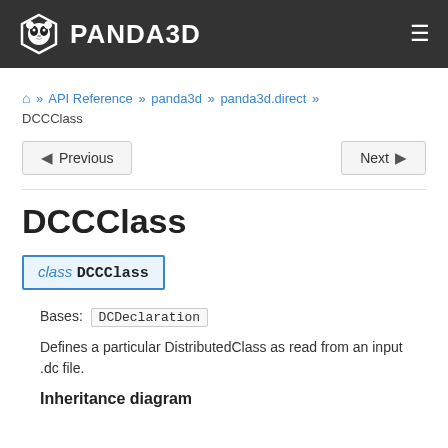PANDA3D
🏠 » API Reference » panda3d » panda3d.direct » DCCClass
Previous   Next
DCCClass
class DCCClass
Bases: DCDeclaration
Defines a particular DistributedClass as read from an input .dc file.
Inheritance diagram